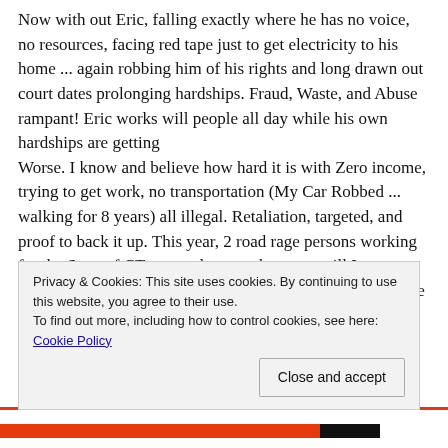Now with out Eric, falling exactly where he has no voice, no resources, facing red tape just to get electricity to his home ... again robbing him of his rights and long drawn out court dates prolonging hardships. Fraud, Waste, and Abuse rampant! Eric works will people all day while his own hardships are getting
Worse. I know and believe how hard it is with Zero income, trying to get work, no transportation (My Car Robbed ... walking for 8 years) all illegal. Retaliation, targeted, and proof to back it up. This year, 2 road rage persons working for the State of CT targeted me on the street will I was walking I took pictures of licences and reported it, as I have been trying to get
Privacy & Cookies: This site uses cookies. By continuing to use this website, you agree to their use.
To find out more, including how to control cookies, see here: Cookie Policy
Close and accept